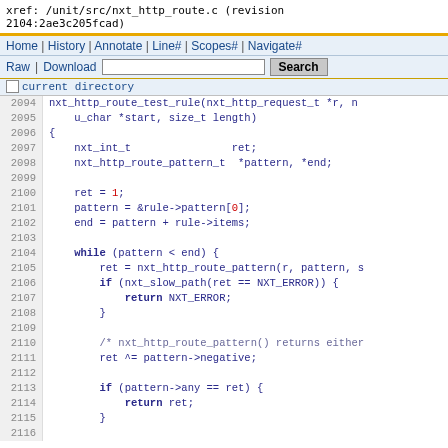xref: /unit/src/nxt_http_route.c (revision 2104:2ae3c205fcad)
Home | History | Annotate | Line# | Scopes# | Navigate#
Raw | Download  [Search]  [Search button]
current directory
Code listing lines 2091-2116 of nxt_http_route.c